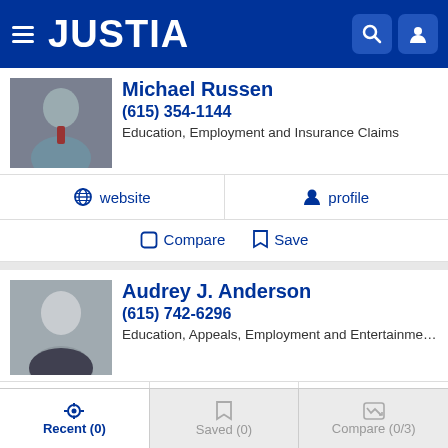JUSTIA
Michael Russen
(615) 354-1144
Education, Employment and Insurance Claims
website | profile
Compare | Save
Audrey J. Anderson
(615) 742-6296
Education, Appeals, Employment and Entertainment & Sp...
website | profile | email
Compare | Save
Recent (0) | Saved (0) | Compare (0/3)